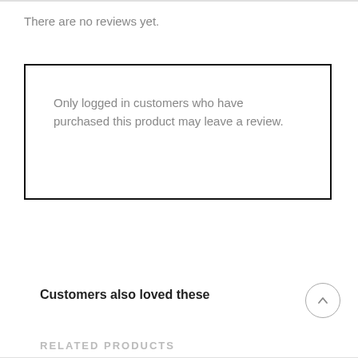There are no reviews yet.
Only logged in customers who have purchased this product may leave a review.
Customers also loved these
RELATED PRODUCTS